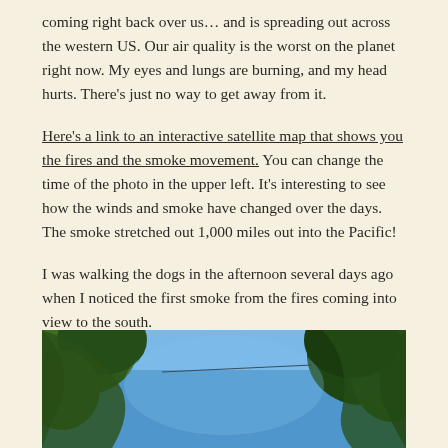coming right back over us… and is spreading out across the western US. Our air quality is the worst on the planet right now. My eyes and lungs are burning, and my head hurts. There's just no way to get away from it.
Here's a link to an interactive satellite map that shows you the fires and the smoke movement. You can change the time of the photo in the upper left. It's interesting to see how the winds and smoke have changed over the days. The smoke stretched out 1,000 miles out into the Pacific!
I was walking the dogs in the afternoon several days ago when I noticed the first smoke from the fires coming into view to the south.
[Figure (photo): Looking up through tree branches at a blue sky, with green conifer trees visible on the left and right edges of the frame.]